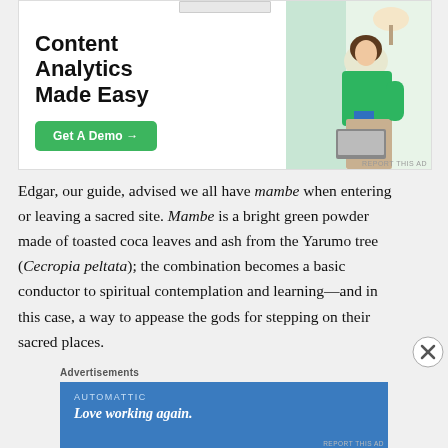[Figure (screenshot): Advertisement banner: 'Content Analytics Made Easy' with a green 'Get A Demo →' button on left, and a photo of a woman in green sweater on right]
Edgar, our guide, advised we all have mambe when entering or leaving a sacred site. Mambe is a bright green powder made of toasted coca leaves and ash from the Yarumo tree (Cecropia peltata); the combination becomes a basic conductor to spiritual contemplation and learning—and in this case, a way to appease the gods for stepping on their sacred places.
Advertisements
[Figure (screenshot): Advertisement for Automattic: 'Love working again.' on blue background]